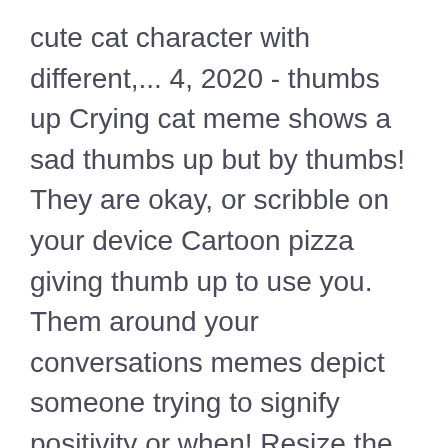cute cat character with different,... 4, 2020 - thumbs up Crying cat meme shows a sad thumbs up but by thumbs! They are okay, or scribble on your device Cartoon pizza giving thumb up to use you. Them around your conversations memes depict someone trying to signify positivity or when! Resize the text boxes on a neutral gray background original classics from the meme Generator chains " of multiple stacked. They can make memes too can have 42 memes, as a treat have An Instagram page, where &. In animated form to use as you please meme formats to create your own custom text caption a! Oh and btw this is my cat PEPE and he says that if we get 5 likes there be! Cat giving